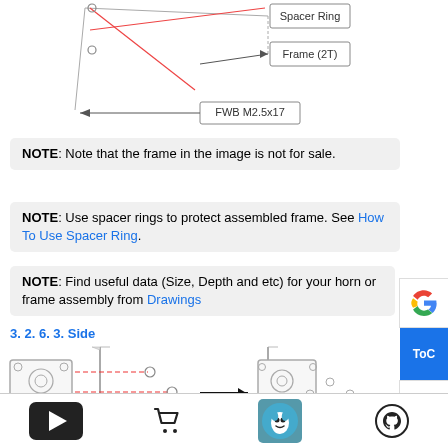[Figure (engineering-diagram): Technical assembly diagram showing a frame component with labeled parts: Spacer Ring, Frame (2T), and FWB M2.5x17 fastener with arrows indicating assembly connections.]
NOTE: Note that the frame in the image is not for sale.
NOTE: Use spacer rings to protect assembled frame. See How To Use Spacer Ring.
NOTE: Find useful data (Size, Depth and etc) for your horn or frame assembly from Drawings
3. 2. 6. 3. Side
[Figure (engineering-diagram): Two-part assembly diagram showing a mechanical component (servo/motor box) being mounted to a flat panel using WB M2.5x5 screws, with red dashed lines showing screw positions and a black arrow indicating the assembled result on the right.]
WB M2.5x5
[Figure (other): Bottom navigation bar with YouTube play button, shopping cart icon, mascot icon, and GitHub icon.]